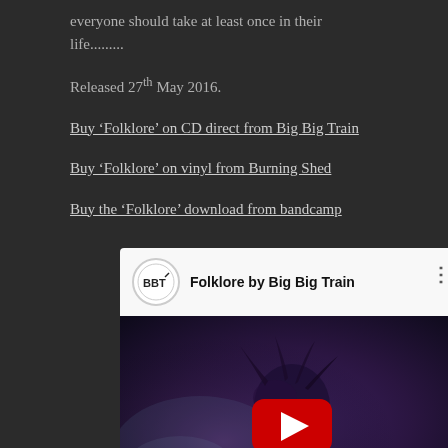everyone should take at least once in their life.........
Released 27th May 2016.
Buy ‘Folklore’ on CD direct from Big Big Train
Buy ‘Folklore’ on vinyl from Burning Shed
Buy the ‘Folklore’ download from bandcamp
[Figure (screenshot): YouTube video embed showing 'Folklore by Big Big Train' with BBT logo, video thumbnail of a masked figure, and red play button]